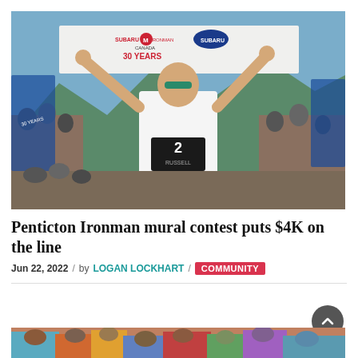[Figure (photo): Athlete crossing the finish line at Subaru Ironman Canada 30 Years event, wearing race bib number 2 (RUSSELL), arms raised holding a banner, crowd cheering in background]
Penticton Ironman mural contest puts $4K on the line
Jun 22, 2022 / by LOGAN LOCKHART / COMMUNITY
[Figure (photo): Partial view of a second photo showing people at what appears to be an outdoor community event]